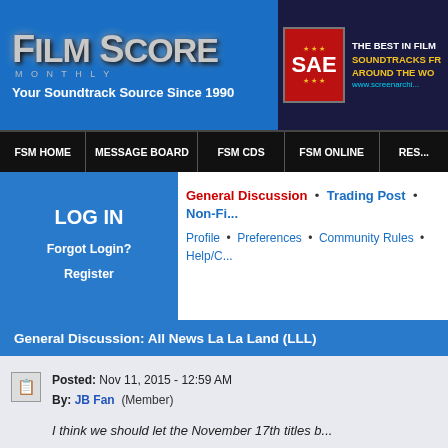[Figure (screenshot): FilmScore Monthly website header with logo and SAE advertisement banner]
FSM HOME | MESSAGE BOARD | FSM CDs | FSM ONLINE | RES...
LOG IN
Forgot Login?
Register
General Discussion • Trading Post • Non-Fi...
Profile • Preferences • Community Rules • Help/C...
General Discussion: All News La La Land (LLL)
Posted: Nov 11, 2015 - 12:59 AM
By: JB Fan (Member)
I think we should let the November 17th titles b...
Just speculating like we've always done.
Plus most of us need to plan our budget - if the... more expensive? We just ask about this. Like o...